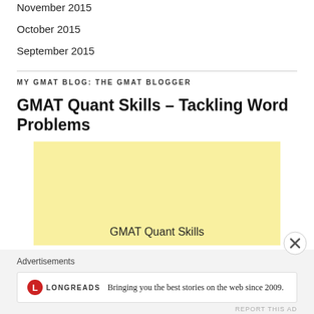November 2015
October 2015
September 2015
MY GMAT BLOG: THE GMAT BLOGGER
GMAT Quant Skills – Tackling Word Problems
[Figure (other): Yellow advertisement banner with text 'GMAT Quant Skills']
Advertisements
[Figure (other): Longreads advertisement: logo with red L circle and text 'Bringing you the best stories on the web since 2009.']
REPORT THIS AD